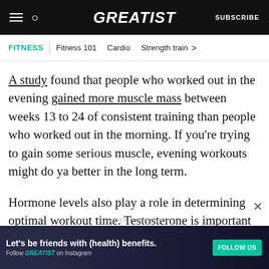GREATIST | SUBSCRIBE
FITNESS | Fitness 101  Cardio  Strength train >
A study found that people who worked out in the evening gained more muscle mass between weeks 13 to 24 of consistent training than people who worked out in the morning. If you’re trying to gain some serious muscle, evening workouts might do ya better in the long term.
Hormone levels also play a role in determining optimal workout time. Testosterone is important
ADVERTISEMENT
Let’s be friends with (health) benefits. Follow GREATIST on Instagram  FOLLOW US